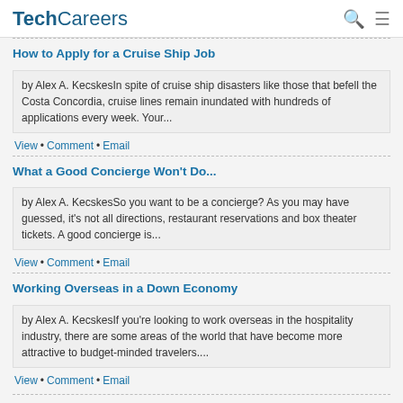TechCareers
How to Apply for a Cruise Ship Job
by Alex A. KecskesIn spite of cruise ship disasters like those that befell the Costa Concordia, cruise lines remain inundated with hundreds of applications every week. Your...
View • Comment • Email
What a Good Concierge Won't Do...
by Alex A. KecskesSo you want to be a concierge? As you may have guessed, it's not all directions, restaurant reservations and box theater tickets. A good concierge is...
View • Comment • Email
Working Overseas in a Down Economy
by Alex A. KecskesIf you're looking to work overseas in the hospitality industry, there are some areas of the world that have become more attractive to budget-minded travelers....
View • Comment • Email